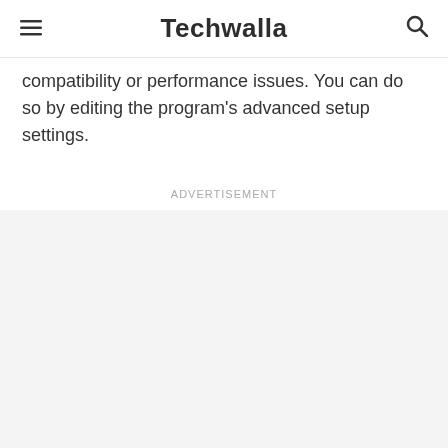Techwalla
compatibility or performance issues. You can do so by editing the program's advanced setup settings.
Advertisement
[Figure (other): Advertisement placeholder area with light gray background]